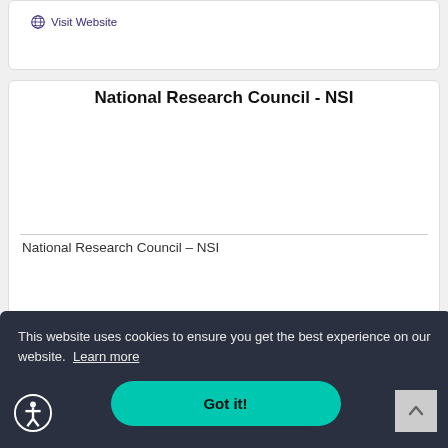Visit website
National Research Council - NSI
National Research Council – NSI
This website uses cookies to ensure you get the best experience on our website. Learn more
Got it!